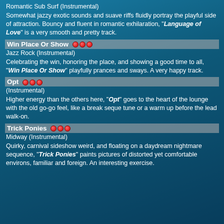Romantic Sub Surf (Instrumental)
Somewhat jazzy exotic sounds and suave riffs fluidly portray the playful side of attraction. Bouncy and fluent in romantic exhilaration, "Language of Love" is a very smooth and pretty track.
Win Place Or Show ●●●
Jazz Rock (Instrumental)
Celebrating the win, honoring the place, and showing a good time to all, "Win Place Or Show" playfully prances and sways. A very happy track.
Opt ●●●
(Instrumental)
Higher energy than the others here, "Opt" goes to the heart of the lounge with the old go-go feel, like a break seque tune or a warm up before the lead walk-on.
Trick Ponies ●●●
Midway (Instrumental)
Quirky, carnival sideshow weird, and floating on a daydream nightmare sequence, "Trick Ponies" paints pictures of distorted yet comfortable environs, familiar and foreign. An interesting exercise.